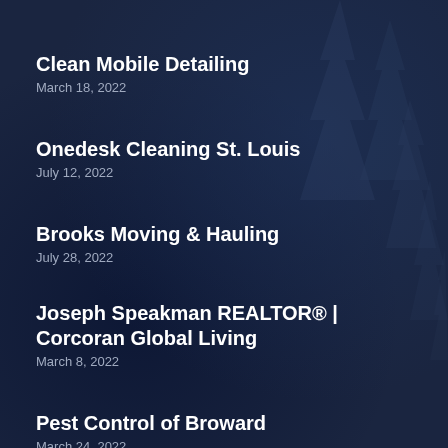Clean Mobile Detailing
March 18, 2022
Onedesk Cleaning St. Louis
July 12, 2022
Brooks Moving & Hauling
July 28, 2022
Joseph Speakman REALTOR® | Corcoran Global Living
March 8, 2022
Pest Control of Broward
March 24, 2022